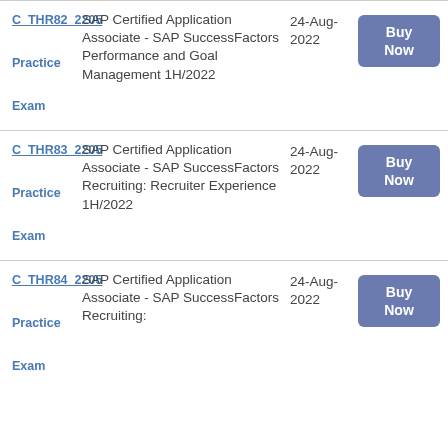| Code / Type | Description | Date | Action |
| --- | --- | --- | --- |
| C_THR82_2205
Practice
Exam | SAP Certified Application Associate - SAP SuccessFactors Performance and Goal Management 1H/2022 | 24-Aug-
2022 | Buy Now |
| C_THR83_2205
Practice
Exam | SAP Certified Application Associate - SAP SuccessFactors Recruiting: Recruiter Experience 1H/2022 | 24-Aug-
2022 | Buy Now |
| C_THR84_2205
Practice
Exam | SAP Certified Application Associate - SAP SuccessFactors Recruiting: | 24-Aug-
2022 | Buy Now |